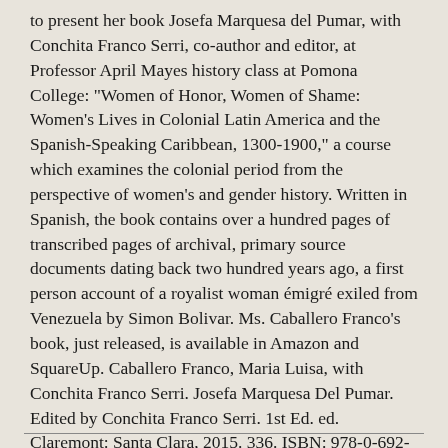to present her book Josefa Marquesa del Pumar, with Conchita Franco Serri, co-author and editor, at Professor April Mayes history class at Pomona College: "Women of Honor, Women of Shame: Women's Lives in Colonial Latin America and the Spanish-Speaking Caribbean, 1300-1900," a course which examines the colonial period from the perspective of women's and gender history. Written in Spanish, the book contains over a hundred pages of transcribed pages of archival, primary source documents dating back two hundred years ago, a first person account of a royalist woman émigré exiled from Venezuela by Simon Bolivar. Ms. Caballero Franco's book, just released, is available in Amazon and SquareUp. Caballero Franco, Maria Luisa, with Conchita Franco Serri. Josefa Marquesa Del Pumar. Edited by Conchita Franco Serri. 1st Ed. ed. Claremont: Santa Clara, 2015. 336. ISBN: 978-0-692-37797-0